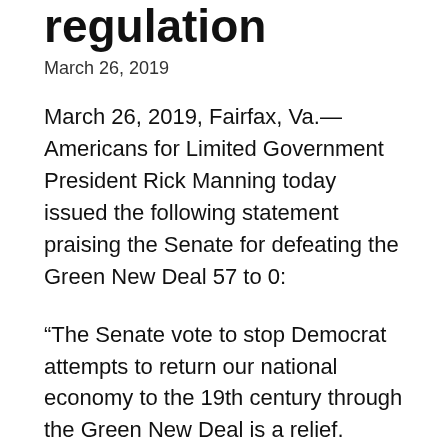regulation
March 26, 2019
March 26, 2019, Fairfax, Va.—Americans for Limited Government President Rick Manning today issued the following statement praising the Senate for defeating the Green New Deal 57 to 0:
“The Senate vote to stop Democrat attempts to return our national economy to the 19th century through the Green New Deal is a relief.  However, there is one common sense regulation that everyone should be able to get behind, the United Nations’ International Maritime Organization’s called IMO 2020